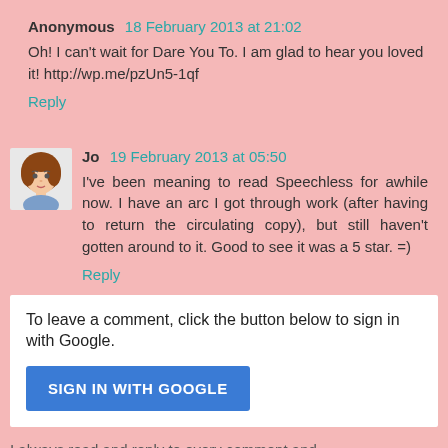Anonymous 18 February 2013 at 21:02
Oh! I can't wait for Dare You To. I am glad to hear you loved it! http://wp.me/pzUn5-1qf
Reply
Jo 19 February 2013 at 05:50
I've been meaning to read Speechless for awhile now. I have an arc I got through work (after having to return the circulating copy), but still haven't gotten around to it. Good to see it was a 5 star. =)
Reply
To leave a comment, click the button below to sign in with Google.
SIGN IN WITH GOOGLE
I always read and reply to every comment and